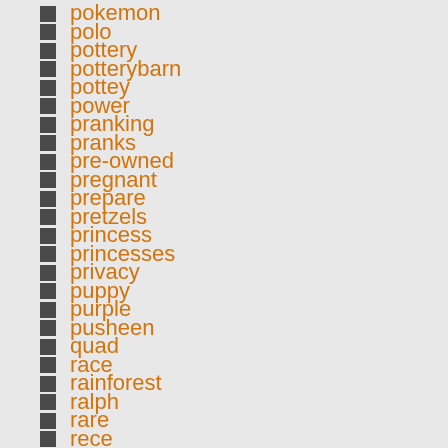pokemon
polo
pottery
potterybarn
pottey
power
pranking
pranks
pre-owned
pregnant
prepare
pretzels
princess
princesses
privacy
puppy
purple
pusheen
quad
race
rainforest
ralph
rare
rece